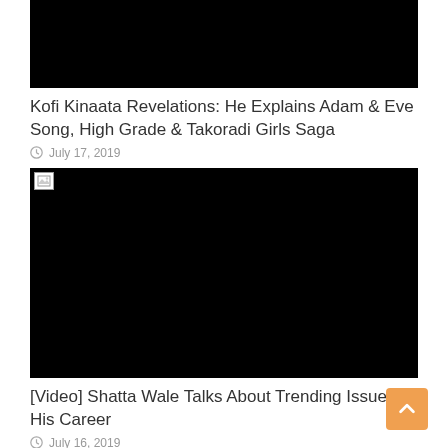[Figure (photo): Black rectangle image (failed to load or video thumbnail), top of page]
Kofi Kinaata Revelations: He Explains Adam & Eve Song, High Grade & Takoradi Girls Saga
July 17, 2019
[Figure (photo): Black rectangle image with broken image icon in top-left corner (failed to load or video thumbnail)]
[Video] Shatta Wale Talks About Trending Issues In His Career
July 16, 2019